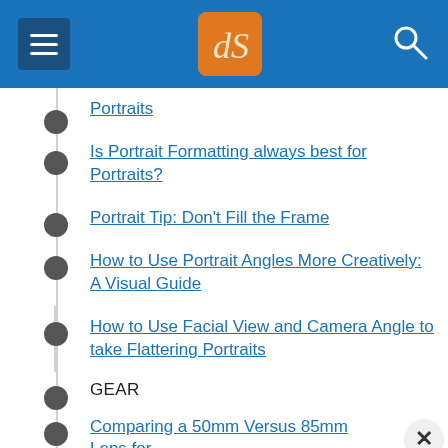dPS navigation bar
Portraits
Is Portrait Formatting always best for Portraits?
Portrait Tip: Don't Fill the Frame
How to Use Portrait Angles More Creatively: A Visual Guide
How to Use Facial View and Camera Angle to take Flattering Portraits
GEAR
Comparing a 50mm Versus 85mm Lens for